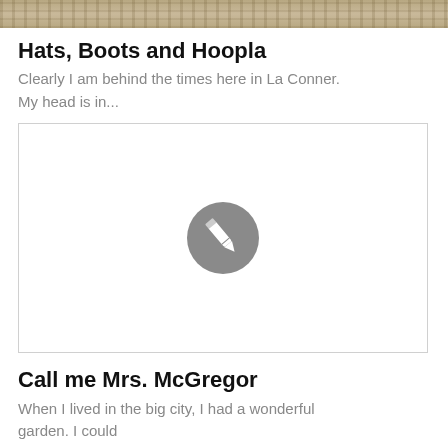[Figure (photo): Top banner image showing a textured background, partially visible at the top of the page.]
Hats, Boots and Hoopla
Clearly I am behind the times here in La Conner. My head is in...
[Figure (illustration): A white area with a gray circular pencil/edit icon in the center, bordered by a light gray rectangle.]
Call me Mrs. McGregor
When I lived in the big city, I had a wonderful garden. I could